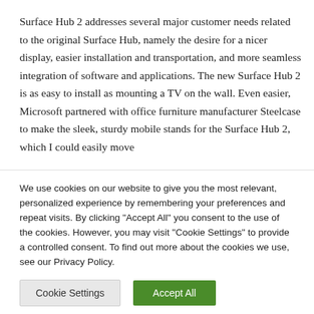Surface Hub 2 addresses several major customer needs related to the original Surface Hub, namely the desire for a nicer display, easier installation and transportation, and more seamless integration of software and applications. The new Surface Hub 2 is as easy to install as mounting a TV on the wall. Even easier, Microsoft partnered with office furniture manufacturer Steelcase to make the sleek, sturdy mobile stands for the Surface Hub 2, which I could easily move
We use cookies on our website to give you the most relevant, personalized experience by remembering your preferences and repeat visits. By clicking "Accept All" you consent to the use of the cookies. However, you may visit "Cookie Settings" to provide a controlled consent. To find out more about the cookies we use, see our Privacy Policy.